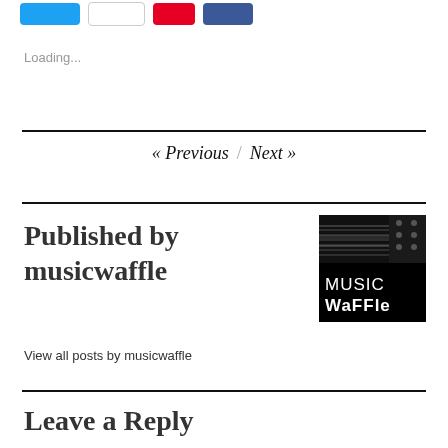[Figure (screenshot): Social sharing buttons: Twitter (blue), Email (white/grey), Pinterest (red), Facebook (dark blue)]
Loading...
« Previous  /  Next »
Published by musicwaffle
[Figure (logo): MusicWaffle logo: black background with guitar neck photo at top and MUSIC WaFFle text below in white]
View all posts by musicwaffle
Leave a Reply